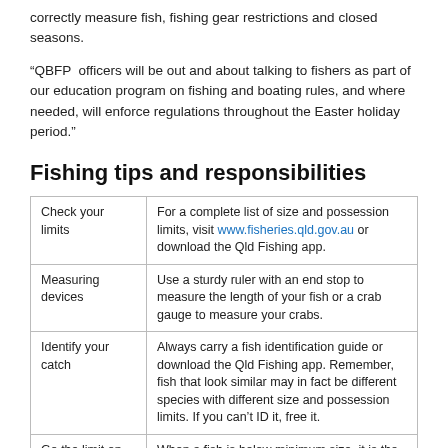correctly measure fish, fishing gear restrictions and closed seasons.
“QBFP officers will be out and about talking to fishers as part of our education program on fishing and boating rules, and where needed, will enforce regulations throughout the Easter holiday period.”
Fishing tips and responsibilities
|  |  |
| --- | --- |
| Check your limits | For a complete list of size and possession limits, visit www.fisheries.qld.gov.au or download the Qld Fishing app. |
| Measuring devices | Use a sturdy ruler with an end stop to measure the length of your fish or a crab gauge to measure your crabs. |
| Identify your catch | Always carry a fish identification guide or download the Qld Fishing app. Remember, fish that look similar may in fact be different species with different size and possession limits. If you can’t ID it, free it. |
| Go the limit on ... | When a fish is below minimum size, it is the ... |